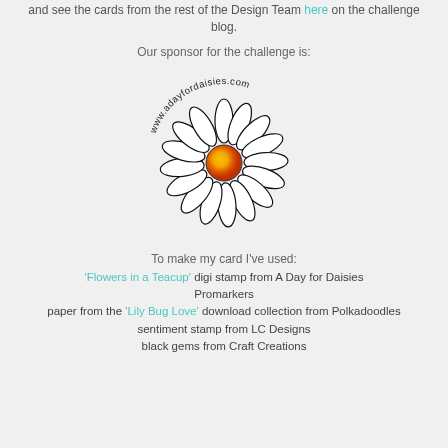and see the cards from the rest of the Design Team here on the challenge blog.
Our sponsor for the challenge is:
[Figure (logo): A Day for Daisies logo - circular text reading www.adayfordaisies.com around a hand-drawn daisy flower with orange and yellow center]
To make my card I've used:
'Flowers in a Teacup' digi stamp from A Day for Daisies
Promarkers
paper from the 'Lily Bug Love' download collection from Polkadoodles
sentiment stamp from LC Designs
black gems from Craft Creations